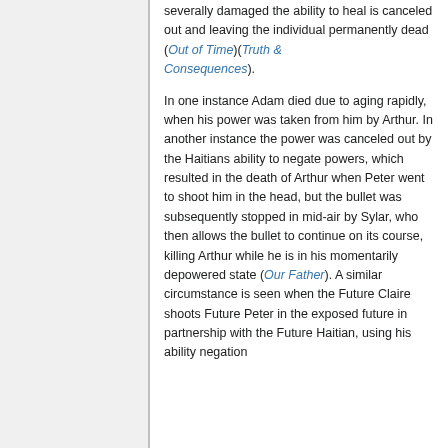severally damaged the ability to heal is canceled out and leaving the individual permanently dead (Out of Time)(Truth & Consequences).
In one instance Adam died due to aging rapidly, when his power was taken from him by Arthur. In another instance the power was canceled out by the Haitians ability to negate powers, which resulted in the death of Arthur when Peter went to shoot him in the head, but the bullet was subsequently stopped in mid-air by Sylar, who then allows the bullet to continue on its course, killing Arthur while he is in his momentarily depowered state (Our Father). A similar circumstance is seen when the Future Claire shoots Future Peter in the exposed future in partnership with the Future Haitian, using his ability negation